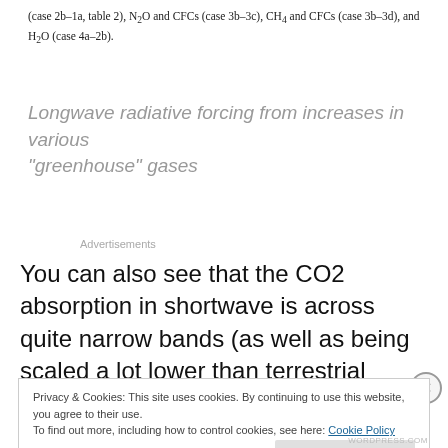(case 2b–1a, table 2), N₂O and CFCs (case 3b–3c), CH₄ and CFCs (case 3b–3d), and H₂O (case 4a–2b).
Longwave radiative forcing from increases in various "greenhouse" gases
Advertisements
You can also see that the CO2 absorption in shortwave is across quite narrow bands (as well as being scaled a lot lower than terrestrial radiation) – therefore the total energy
Privacy & Cookies: This site uses cookies. By continuing to use this website, you agree to their use.
To find out more, including how to control cookies, see here: Cookie Policy
WORDPRESS.COM